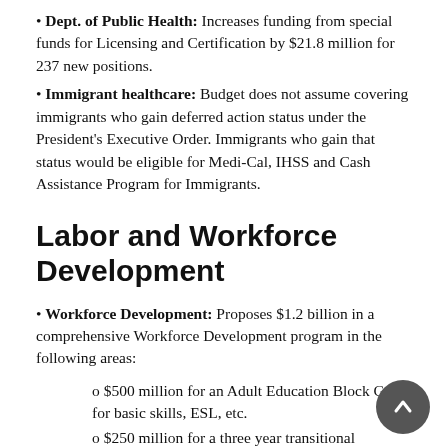• Dept. of Public Health: Increases funding from special funds for Licensing and Certification by $21.8 million for 237 new positions.
• Immigrant healthcare: Budget does not assume covering immigrants who gain deferred action status under the President's Executive Order. Immigrants who gain that status would be eligible for Medi-Cal, IHSS and Cash Assistance Program for Immigrants.
Labor and Workforce Development
• Workforce Development: Proposes $1.2 billion in a comprehensive Workforce Development program in the following areas:
o $500 million for an Adult Education Block Grant for basic skills, ESL, etc.
o $250 million for a three year transitional